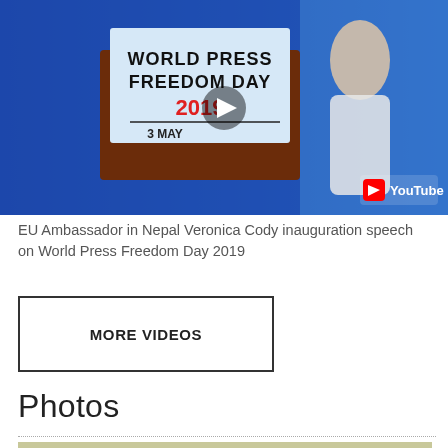[Figure (screenshot): YouTube video thumbnail showing World Press Freedom Day 2019, 3 May event. A person stands at a podium with a sign reading WORLD PRESS FREEDOM DAY 2019 in red and black. YouTube play button overlay visible.]
EU Ambassador in Nepal Veronica Cody inauguration speech on World Press Freedom Day 2019
MORE VIDEOS
Photos
[Figure (photo): Group of people in a classroom or office setting. A man in a grey shirt appears to be speaking or explaining something to others including a woman in a hijab, a young man in a red shirt, and a woman on the left smiling.]